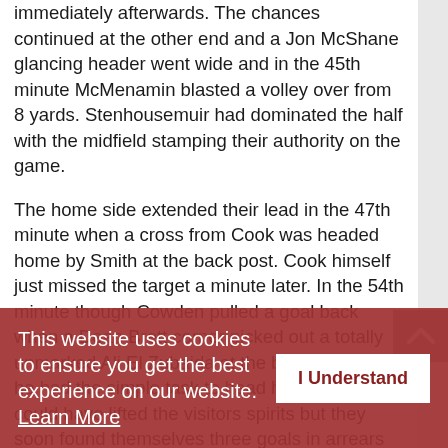immediately afterwards. The chances continued at the other end and a Jon McShane glancing header went wide and in the 45th minute McMenamin blasted a volley over from 8 yards. Stenhousemuir had dominated the half with the midfield stamping their authority on the game.
The home side extended their lead in the 47th minute when a cross from Cook was headed home by Smith at the back post. Cook himself just missed the target a minute later. In the 54th minute though Cowden pulled a goal back when a Dean Brett corner picked out a totally unmarked Ali El Zubaida at the back post and he had the simple task to head home. This could have lifted the visitors spirits but they soon found themselves three goals in arrears again when Andrews made a hash of a Cook strike that squirmed under his body and into the net. That goal was vital as Cowdenbeath were gifted another goal two minutes later. Liam Henderson was short with a pass back that allowed Spence to nip in and score. That goal gave the visitors a lifeline but it was squandered when they had a certain John restore...
This website uses cookies to ensure you get the best experience on our website. Learn More